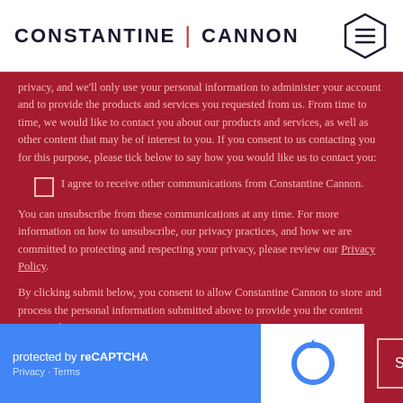CONSTANTINE | CANNON
privacy, and we'll only use your personal information to administer your account and to provide the products and services you requested from us. From time to time, we would like to contact you about our products and services, as well as other content that may be of interest to you. If you consent to us contacting you for this purpose, please tick below to say how you would like us to contact you:
I agree to receive other communications from Constantine Cannon.
You can unsubscribe from these communications at any time. For more information on how to unsubscribe, our privacy practices, and how we are committed to protecting and respecting your privacy, please review our Privacy Policy.
By clicking submit below, you consent to allow Constantine Cannon to store and process the personal information submitted above to provide you the content requested.
[Figure (other): reCAPTCHA widget with blue background showing 'protected by reCAPTCHA' text and Privacy/Terms links, alongside reCAPTCHA logo icon on white background]
Subscribe